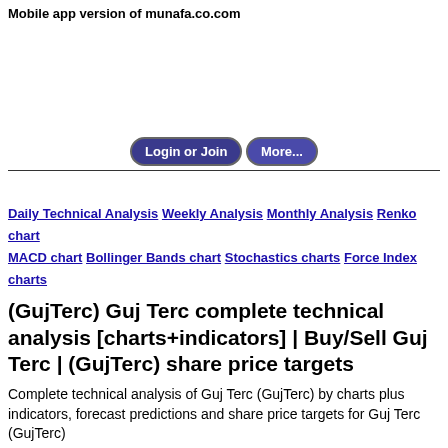Mobile app version of munafa.co.com
[advertisement area]
Login or Join  More...
Daily Technical Analysis  Weekly Analysis  Monthly Analysis  Renko chart  MACD chart  Bollinger Bands chart  Stochastics charts  Force Index charts
(GujTerc) Guj Terc complete technical analysis [charts+indicators] | Buy/Sell Guj Terc | (GujTerc) share price targets
Complete technical analysis of Guj Terc (GujTerc) by charts plus indicators, forecast predictions and share price targets for Guj Terc (GujTerc)
Showing technical analysis as on 2022-05-13 View latest